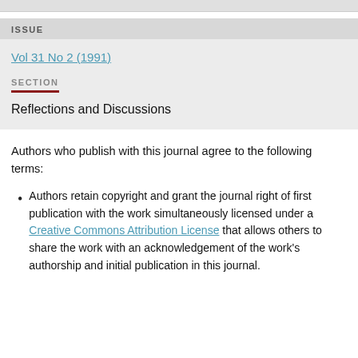ISSUE
Vol 31 No 2 (1991)
SECTION
Reflections and Discussions
Authors who publish with this journal agree to the following terms:
Authors retain copyright and grant the journal right of first publication with the work simultaneously licensed under a Creative Commons Attribution License that allows others to share the work with an acknowledgement of the work's authorship and initial publication in this journal.